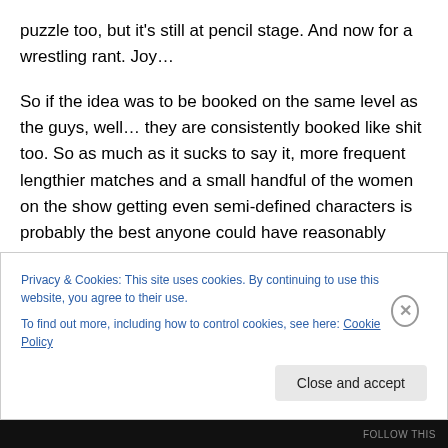puzzle too, but it's still at pencil stage.  And now for a wrestling rant.  Joy...
So if the idea was to be booked on the same level as the guys, well… they are consistently booked like shit too.  So as much as it sucks to say it, more frequent lengthier matches and a small handful of the women on the show getting even semi-defined characters is probably the best anyone could have reasonably hoped for.  It's a damn shame mainline WWE is almost entirely unwatchable garbage (NXT is excellent, however), but on that sliding
Privacy & Cookies: This site uses cookies. By continuing to use this website, you agree to their use.
To find out more, including how to control cookies, see here: Cookie Policy
Close and accept